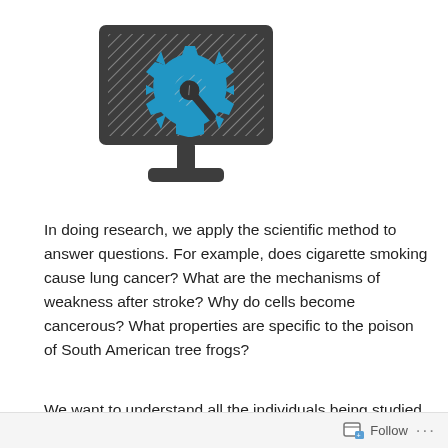[Figure (illustration): A computer monitor icon with a blue gear and wrench/spanner symbol in the center, on a hatched/diagonal striped background within the monitor screen. The monitor is dark gray/charcoal colored with a stand.]
In doing research, we apply the scientific method to answer questions. For example, does cigarette smoking cause lung cancer? What are the mechanisms of weakness after stroke? Why do cells become cancerous? What properties are specific to the poison of South American tree frogs?
We want to understand all the individuals being studied
Follow ...